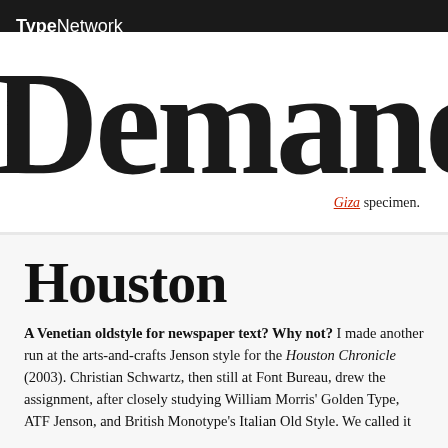TypeNetwork
Demand
Giza specimen.
Houston
A Venetian oldstyle for newspaper text? Why not? I made another run at the arts-and-crafts Jenson style for the Houston Chronicle (2003). Christian Schwartz, then still at Font Bureau, drew the assignment, after closely studying William Morris' Golden Type, ATF Jenson, and British Monotype's Italian Old Style. We called it Houston, but more recently that font became f